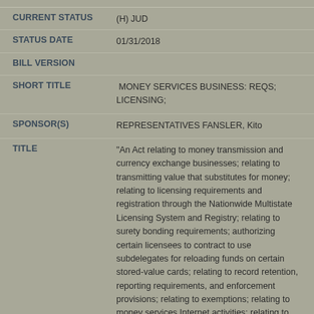| Field | Value |
| --- | --- |
| CURRENT STATUS | (H) JUD |
| STATUS DATE | 01/31/2018 |
| BILL VERSION |  |
| SHORT TITLE | MONEY SERVICES BUSINESS: REQS; LICENSING; |
| SPONSOR(S) | REPRESENTATIVES FANSLER, Kito |
| TITLE | "An Act relating to money transmission and currency exchange businesses; relating to transmitting value that substitutes for money; relating to licensing requirements and registration through the Nationwide Multistate Licensing System and Registry; relating to surety bonding requirements; authorizing certain licensees to contract to use subdelegates for reloading funds on certain stored-value cards; relating to record retention, reporting requirements, and enforcement provisions; relating to exemptions; relating to money services Internet activities; relating to transmitting |